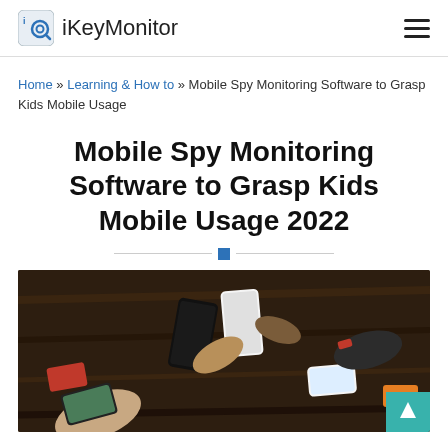iKeyMonitor
Home » Learning & How to » Mobile Spy Monitoring Software to Grasp Kids Mobile Usage
Mobile Spy Monitoring Software to Grasp Kids Mobile Usage 2022
[Figure (photo): Multiple people's hands holding smartphones on a dark wooden table, aerial/overhead view]